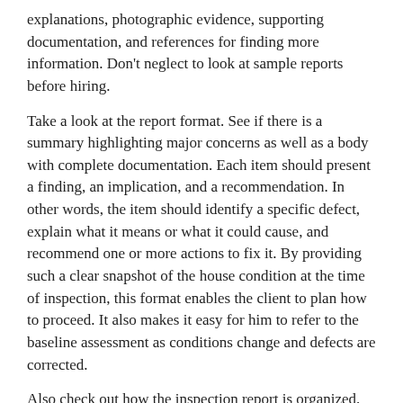explanations, photographic evidence, supporting documentation, and references for finding more information. Don't neglect to look at sample reports before hiring.
Take a look at the report format. See if there is a summary highlighting major concerns as well as a body with complete documentation. Each item should present a finding, an implication, and a recommendation. In other words, the item should identify a specific defect, explain what it means or what it could cause, and recommend one or more actions to fix it. By providing such a clear snapshot of the house condition at the time of inspection, this format enables the client to plan how to proceed. It also makes it easy for him to refer to the baseline assessment as conditions change and defects are corrected.
Also check out how the inspection report is organized. The clearer and more readily searchable for content it is, the more useful it will be as a long-term homeowner guide. Evaluate how easy it is to scan for kinds of defects, location, or system. Has the information been grouped into sections? Is there a legend of symbols or graphical icons used to represent level of concern?